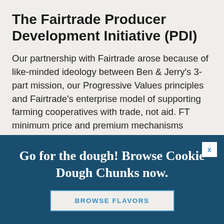The Fairtrade Producer Development Initiative (PDI)
Our partnership with Fairtrade arose because of like-minded ideology between Ben & Jerry's 3-part mission, our Progressive Values principles and Fairtrade's enterprise model of supporting farming cooperatives with trade, not aid. FT minimum price and premium mechanisms recognize the role of price within the broader context of farmer resilience and self-agency. Our work with Fairtrade International has fostered good synergy and momentum building with advancing Living Income across the Fairtrade network. We further advance this goal through the Producer...
Go for the dough! Browse Cookie Dough Chunks now.
BROWSE FLAVORS